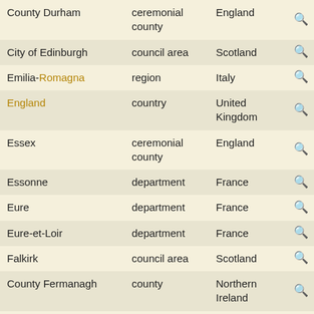| Name | Type | Country |  |
| --- | --- | --- | --- |
| County Durham | ceremonial county | England | 🔍 |
| City of Edinburgh | council area | Scotland | 🔍 |
| Emilia-Romagna | region | Italy | 🔍 |
| England | country | United Kingdom | 🔍 |
| Essex | ceremonial county | England | 🔍 |
| Essonne | department | France | 🔍 |
| Eure | department | France | 🔍 |
| Eure-et-Loir | department | France | 🔍 |
| Falkirk | council area | Scotland | 🔍 |
| County Fermanagh | county | Northern Ireland | 🔍 |
| Fermanagh and Omagh | district | Northern Ireland | 🔍 |
| Fife | council area | Scotland | 🔍 |